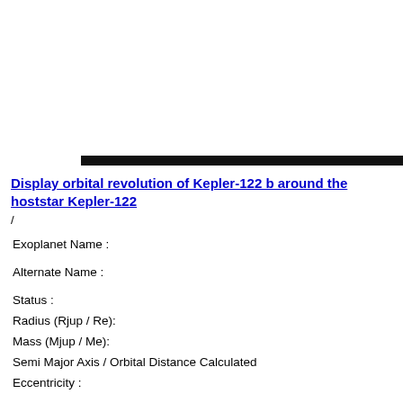Display orbital revolution of Kepler-122 b around the hoststar Kepler-122
/
Exoplanet Name :
Alternate Name :
Status :
Radius (Rjup / Re):
Mass (Mjup / Me):
Semi Major Axis / Orbital Distance Calculated
Eccentricity :